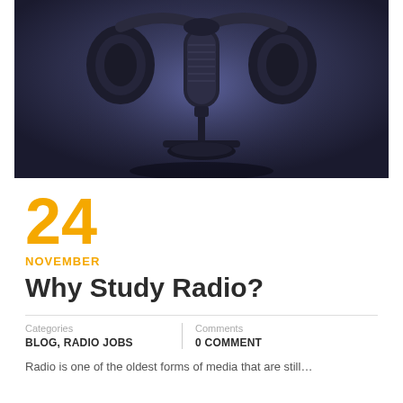[Figure (photo): Studio condenser microphone with headphones hanging on it, against a dark blue-purple moody background.]
24
NOVEMBER
Why Study Radio?
Categories: BLOG, RADIO JOBS
Comments: 0 COMMENT
Radio is one of the oldest forms of media that are still…